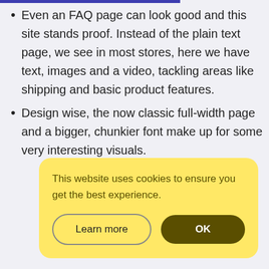Even an FAQ page can look good and this site stands proof. Instead of the plain text page, we see in most stores, here we have text, images and a video, tackling areas like shipping and basic product features.
Design wise, the now classic full-width page and a bigger, chunkier font make up for some very interesting visuals.
This website uses cookies to ensure you get the best experience.